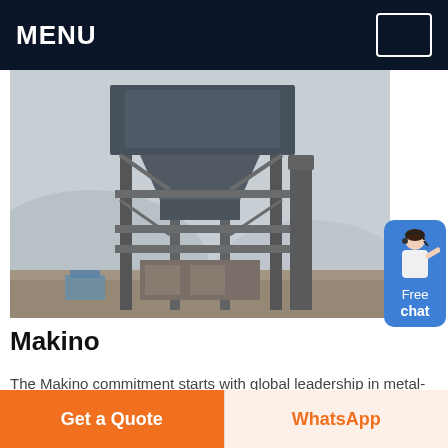MENU
[Figure (photo): Industrial steel structure / mineral processing plant or dust collector tower with large chimneys and hoppers, photographed outdoors with mountains and haze in background]
[Figure (illustration): Customer service representative figure (woman) with headset, next to a blue Free chat button]
Makino
The Makino commitment starts with global leadership in metal-cutting and manufacturing technology with industry-leading horizontal machining centers vertical machining centers wire EDM and Ram EDM and graphite
Get a Quote
WhatsApp